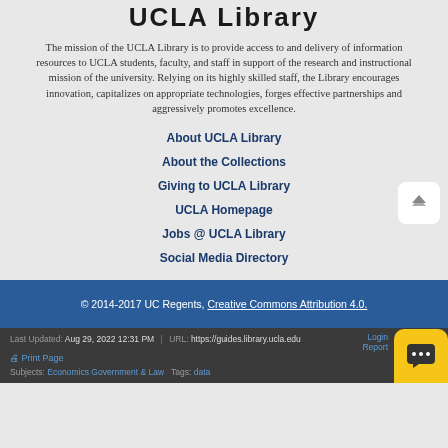[Figure (logo): UCLA Library logo text]
The mission of the UCLA Library is to provide access to and delivery of information resources to UCLA students, faculty, and staff in support of the research and instructional mission of the university. Relying on its highly skilled staff, the Library encourages innovation, capitalizes on appropriate technologies, forges effective partnerships and aggressively promotes excellence.
About UCLA Library
About the Collections
Giving to UCLA Library
UCLA Homepage
Jobs @ UCLA Library
Social Media Directory
© 2014-2017 UC Regents, Creative Commons Attribution 4.0.
Last Updated: Aug 29, 2022 12:31 PM | URL: https://guides.library.ucla.edu | Login | Report